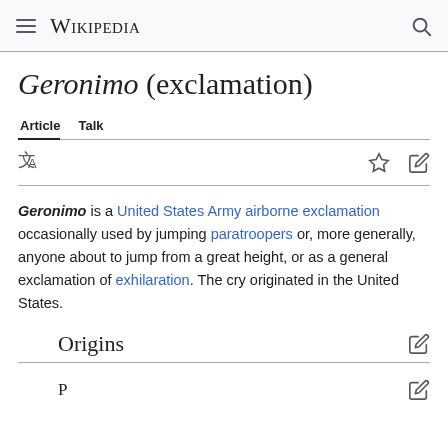Wikipedia
Geronimo (exclamation)
Article   Talk
Geronimo is a United States Army airborne exclamation occasionally used by jumping paratroopers or, more generally, anyone about to jump from a great height, or as a general exclamation of exhilaration. The cry originated in the United States.
Origins